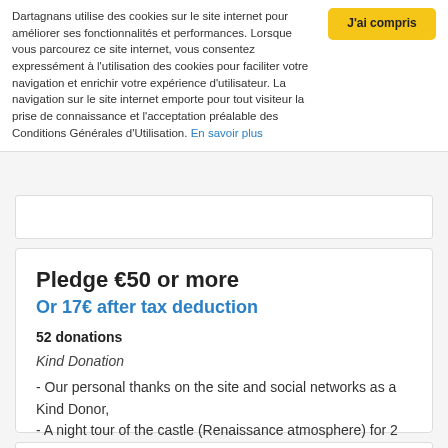Dartagnans utilise des cookies sur le site internet pour améliorer ses fonctionnalités et performances. Lorsque vous parcourez ce site internet, vous consentez expressément à l'utilisation des cookies pour faciliter votre navigation et enrichir votre expérience d'utilisateur. La navigation sur le site internet emporte pour tout visiteur la prise de connaissance et l'acceptation préalable des Conditions Générales d'Utilisation. En savoir plus
Pledge €50 or more
Or 17€ after tax deduction
52 donations
Kind Donation
- Our personal thanks on the site and social networks as a Kind Donor,
- A night tour of the castle (Renaissance atmosphere) for 2 people.